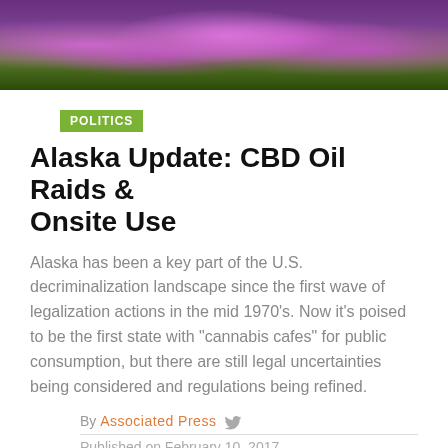[Figure (photo): Banner photo of purple wildflowers (fireweed) with green foliage in Alaska wilderness]
POLITICS
Alaska Update: CBD Oil Raids & Onsite Use
Alaska has been a key part of the U.S. decriminalization landscape since the first wave of legalization actions in the mid 1970’s. Now it’s poised to be the first state with “cannabis cafes” for public consumption, but there are still legal uncertainties being considered and regulations being refined.
By Associated Press
Published on February 10, 2017
[Figure (infographic): Social share buttons: Facebook (blue), Twitter (light blue), WhatsApp (green), Pinterest (red), Email (grey)]
Alaska regulators raid stores over oil